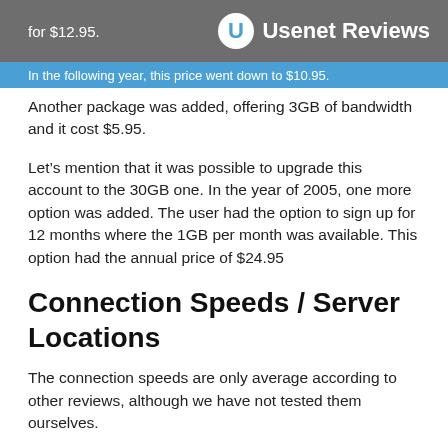for $12.95. Usenet Reviews
In the following year, this price went down to $10.95.
Another package was added, offering 3GB of bandwidth and it cost $5.95.
Let’s mention that it was possible to upgrade this account to the 30GB one. In the year of 2005, one more option was added. The user had the option to sign up for 12 months where the 1GB per month was available. This option had the annual price of $24.95
Connection Speeds / Server Locations
The connection speeds are only average according to other reviews, although we have not tested them ourselves.
The server was available on news.rginews.com